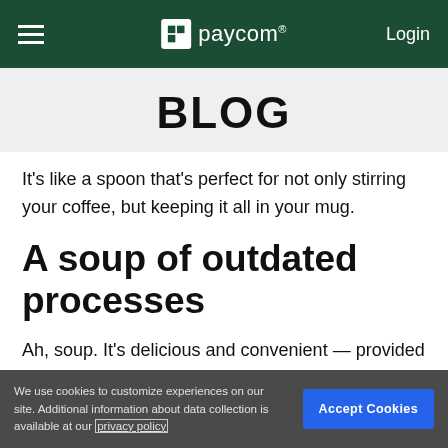paycom | Login
BLOG
It’s like a spoon that’s perfect for not only stirring your coffee, but keeping it all in your mug.
A soup of outdated processes
Ah, soup. It’s delicious and convenient — provided
We use cookies to customize experiences on our site. Additional information about data collection is available at our privacy policy.